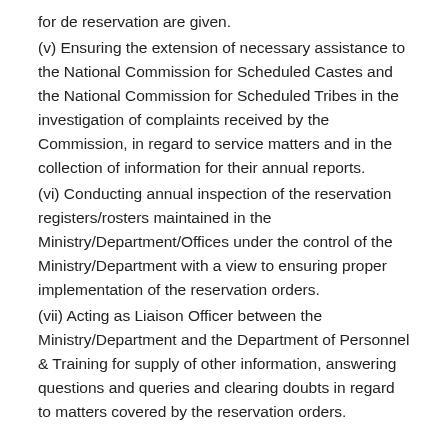for de reservation are given.
(v) Ensuring the extension of necessary assistance to the National Commission for Scheduled Castes and the National Commission for Scheduled Tribes in the investigation of complaints received by the Commission, in regard to service matters and in the collection of information for their annual reports.
(vi) Conducting annual inspection of the reservation registers/rosters maintained in the Ministry/Department/Offices under the control of the Ministry/Department with a view to ensuring proper implementation of the reservation orders.
(vii) Acting as Liaison Officer between the Ministry/Department and the Department of Personnel & Training for supply of other information, answering questions and queries and clearing doubts in regard to matters covered by the reservation orders.